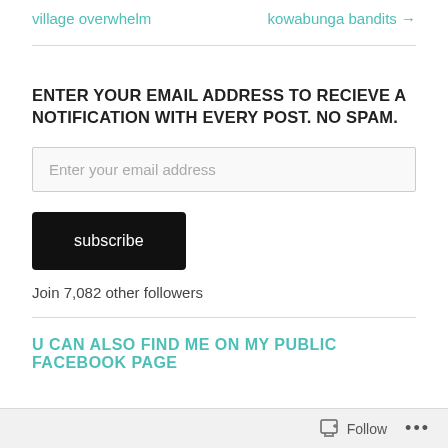village overwhelm
kowabunga bandits →
ENTER YOUR EMAIL ADDRESS TO RECIEVE A NOTIFICATION WITH EVERY POST. NO SPAM.
Enter your email address
subscribe
Join 7,082 other followers
U CAN ALSO FIND ME ON MY PUBLIC FACEBOOK PAGE
Follow